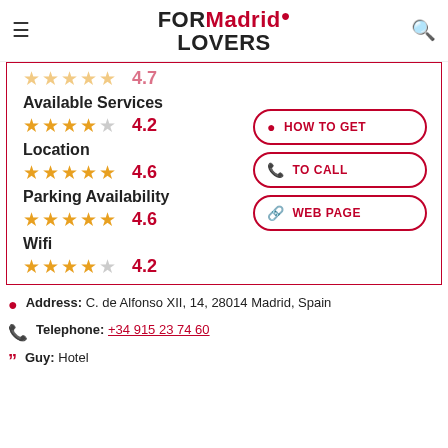FOR Madrid LOVERS
4.7 (partial star row)
Available Services
4.2
Location
4.6
Parking Availability
4.6
Wifi
4.2
HOW TO GET
TO CALL
WEB PAGE
Address: C. de Alfonso XII, 14, 28014 Madrid, Spain
Telephone: +34 915 23 74 60
Guy: Hotel